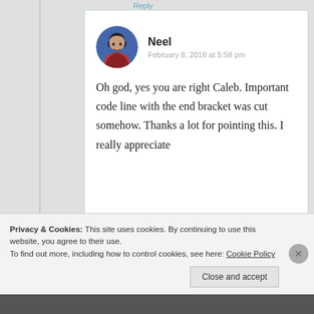Reply
Neel
February 8, 2018 at 5:58 pm
Oh god, yes you are right Caleb. Important code line with the end bracket was cut somehow. Thanks a lot for pointing this. I really appreciate
Privacy & Cookies: This site uses cookies. By continuing to use this website, you agree to their use.
To find out more, including how to control cookies, see here: Cookie Policy
Close and accept